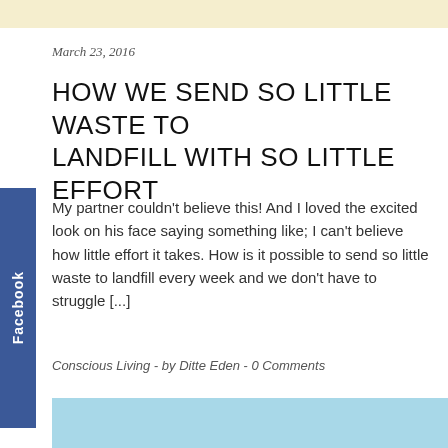March 23, 2016
HOW WE SEND SO LITTLE WASTE TO LANDFILL WITH SO LITTLE EFFORT
My partner couldn't believe this! And I loved the excited look on his face saying something like; I can't believe how little effort it takes. How is it possible to send so little waste to landfill every week and we don't have to struggle [...]
Conscious Living  -  by Ditte Eden  -  0 Comments